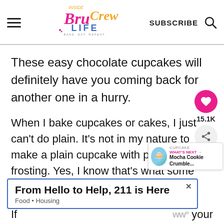Inside Bru Crew LIFE - BAKE. EAT. REPEAT. | SUBSCRIBE
These easy chocolate cupcakes will definitely have you coming back for another one in a hurry.
When I bake cupcakes or cakes, I just can't do plain. It's not in my nature to make a plain cupcake with plain frosting. Yes, I know that's what some people want.
[Figure (infographic): Floating sidebar with heart/save button showing 15.1K and a share button]
[Figure (infographic): What's Next widget showing a cupcake image and text: WHAT'S NEXT → Mocha Cookie Crumble...]
[Figure (infographic): Advertisement banner: From Hello to Help, 211 is Here — Food • Housing]
If ... your